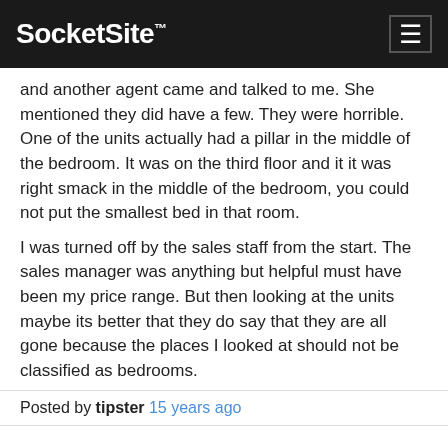SocketSite™
and another agent came and talked to me. She mentioned they did have a few. They were horrible. One of the units actually had a pillar in the middle of the bedroom. It was on the third floor and it it was right smack in the middle of the bedroom, you could not put the smallest bed in that room.

I was turned off by the sales staff from the start. The sales manager was anything but helpful must have been my price range. But then looking at the units maybe its better that they do say that they are all gone because the places I looked at should not be classified as bedrooms.
Posted by tipster 15 years ago
Hey Browser. That's really strange. I was just there over the weekend and was shown several units under 600k. I was told unit 436, a 1 bedroom + den, was going for 596k at 750sqft. This really makes me wonder what is really going on over there in their sales office.
Posted by Location? 15 years ago
I just finshed reading the comments on Radience and it looks like a